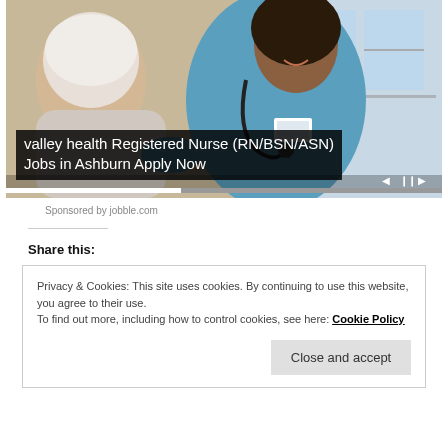[Figure (photo): A smiling nurse in blue scrubs with a stethoscope attending to an elderly patient. Video player controls visible at the bottom of the image.]
valley health Registered Nurse (RN/BSN/ASN) Jobs in Ashburn Apply Now
Sponsored by jobble.com
Share this:
Privacy & Cookies: This site uses cookies. By continuing to use this website, you agree to their use.
To find out more, including how to control cookies, see here: Cookie Policy
Close and accept